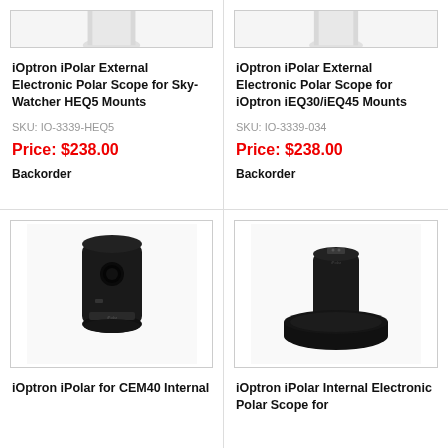[Figure (photo): Top portion of iOptron iPolar External Electronic Polar Scope for Sky-Watcher HEQ5 Mounts product image (cropped at top)]
iOptron iPolar External Electronic Polar Scope for Sky-Watcher HEQ5 Mounts
SKU: IO-3339-HEQ5
Price: $238.00
Backorder
[Figure (photo): Top portion of iOptron iPolar External Electronic Polar Scope for iOptron iEQ30/iEQ45 Mounts product image (cropped at top)]
iOptron iPolar External Electronic Polar Scope for iOptron iEQ30/iEQ45 Mounts
SKU: IO-3339-034
Price: $238.00
Backorder
[Figure (photo): Black cylindrical iOptron iPolar for CEM40 Internal device shown from front angle]
iOptron iPolar for CEM40 Internal
[Figure (photo): Black iOptron iPolar Internal Electronic Polar Scope shown from top/side angle with circular base]
iOptron iPolar Internal Electronic Polar Scope for